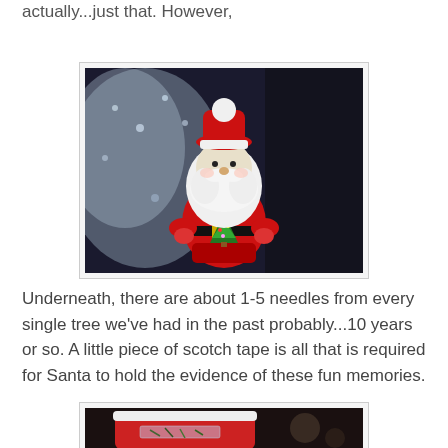actually...just that. However,
[Figure (photo): A ceramic Santa Claus figurine photographed against a silver/metallic Christmas tree background. The Santa is white and red, holding a small Christmas tree.]
Underneath, there are about 1-5 needles from every single tree we've had in the past probably...10 years or so. A little piece of scotch tape is all that is required for Santa to hold the evidence of these fun memories.
[Figure (photo): Close-up photo of the bottom of the Santa figurine showing scotch tape with pine needles attached.]